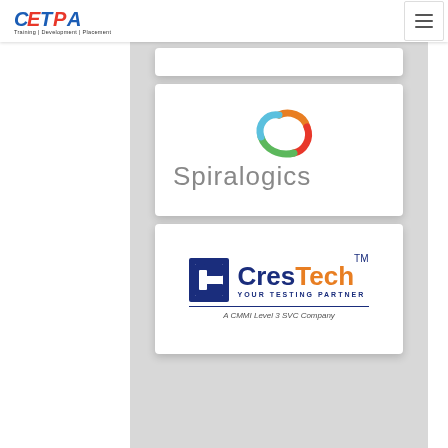CETPA Training | Development | Placement
[Figure (logo): Spiralogics company logo — colorful spiral icon above the word Spiralogics in grey]
[Figure (logo): CresTech logo — square bracket icon, bold navy/orange text 'CresTech TM', tagline 'YOUR TESTING PARTNER', subtitle 'A CMMI Level 3 SVC Company']